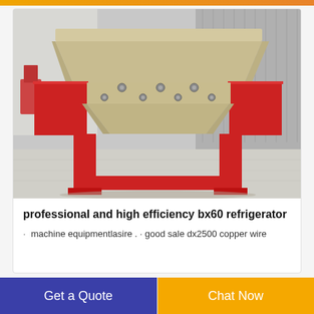[Figure (photo): Industrial shredder/crusher machine with red frame and beige/tan hopper top, sitting on a concrete surface outside a factory building. The machine has a large wide funnel top and two red side wings with a central crushing mechanism.]
professional and high efficiency bx60 refrigerator
· machine equipmentlasire . · good sale dx2500 copper wire